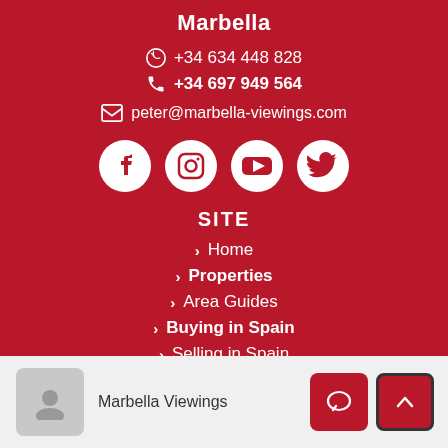Marbella
+34 634 448 828
+34 697 949 564
peter@marbella-viewings.com
[Figure (infographic): Social media icons: Facebook, Instagram, YouTube, Twitter]
SITE
Home
Properties
Area Guides
Buying in Spain
Selling in Spain
Investment
Blog
Marbella Viewings